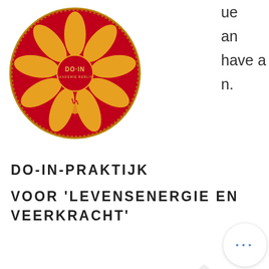[Figure (logo): DO-IN circular logo with lotus flower and Ganesha illustration on red background with gold design]
[Figure (other): Grey square hamburger menu button with three white horizontal bars]
ue
an
have a
n.
DO-IN-PRAKTIJK
VOOR 'LEVENSENERGIE EN VEERKRACHT'
[Figure (illustration): Faint watermark illustration of a decorative arrow or Ganesha trunk motif]
[Figure (other): Yellow-gold pill-shaped button with text 'afspraak maken']
Toki Time - 434.4 dog
Mr Magnifico - 381.7 dog
Jingle Jingle - 160.1 ltc
Hot Gems - 103.8 usdt
[Figure (other): White circular button with three blue dots (more options indicator)]